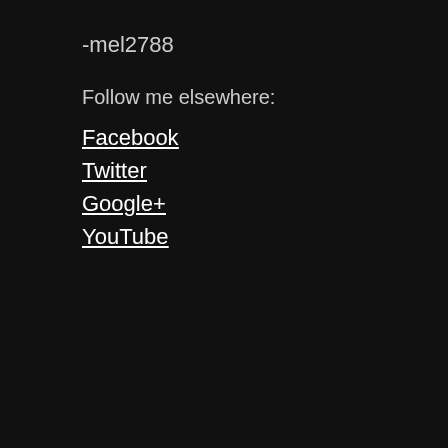-mel2788
Follow me elsewhere:
Facebook
Twitter
Google+
YouTube
Advertisements
[Figure (logo): Jetpack logo with lightning bolt icon on green background]
Privacy & Cookies: This site uses cookies. By continuing to use this website, you agree to their use.
To find out more, including how to control cookies, see here: Cookie Policy
Close and accept